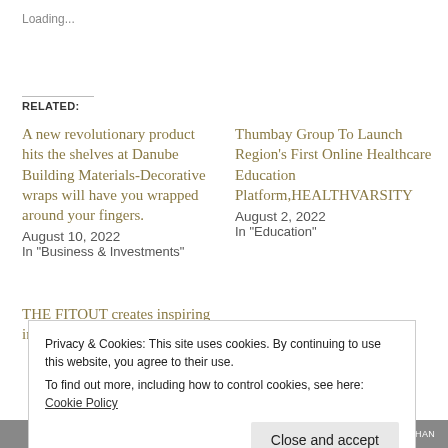Loading...
RELATED:
A new revolutionary product hits the shelves at Danube Building Materials-Decorative wraps will have you wrapped around your fingers.
August 10, 2022
In "Business & Investments"
Thumbay Group To Launch Region's First Online Healthcare Education Platform,HEALTHVARSITY
August 2, 2022
In "Education"
THE FITOUT creates inspiring interiors for Myriam K Salon
Privacy & Cookies: This site uses cookies. By continuing to use this website, you agree to their use.
To find out more, including how to control cookies, see here: Cookie Policy
Close and accept
← THE DESIGNER'S CLASS!    FAMED INTERIOR DESIGNER GAURUKHAN →